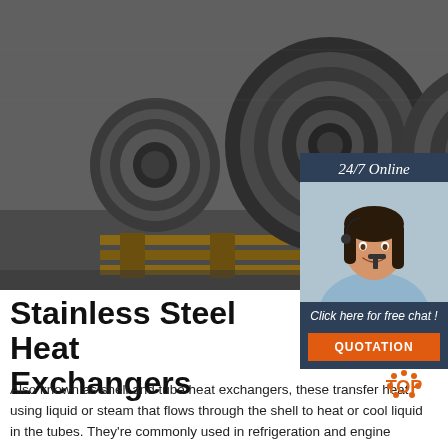[Figure (photo): Photo of large stainless steel coils/rolls stacked in an industrial warehouse setting.]
[Figure (photo): Sidebar panel with a customer service representative wearing a headset, smiling. Includes '24/7 Online' header, 'Click here for free chat!' text, and an orange 'QUOTATION' button.]
Stainless Steel Heat Exchangers
Also known as shell and tube heat exchangers, these transfer heat using liquid or steam that flows through the shell to heat or cool liquid in the tubes. They're commonly used in refrigeration and engine cooling systems. Btu/hr. cooling capacity is based on cooling 180° F process water with 85° F